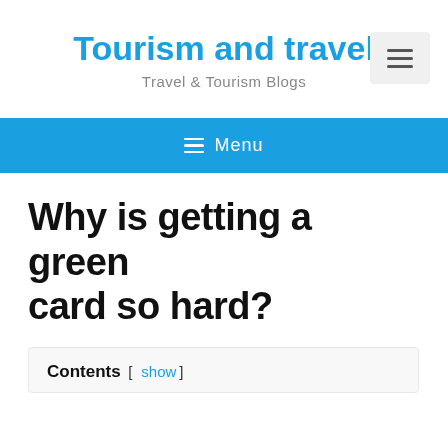Tourism and travel
Travel & Tourism Blogs
≡ Menu
Why is getting a green card so hard?
Contents [ show ]